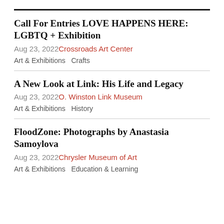Call For Entries LOVE HAPPENS HERE: LGBTQ + Exhibition
Aug 23, 2022 Crossroads Art Center
Art & Exhibitions  Crafts
A New Look at Link: His Life and Legacy
Aug 23, 2022 O. Winston Link Museum
Art & Exhibitions  History
FloodZone: Photographs by Anastasia Samoylova
Aug 23, 2022 Chrysler Museum of Art
Art & Exhibitions  Education & Learning